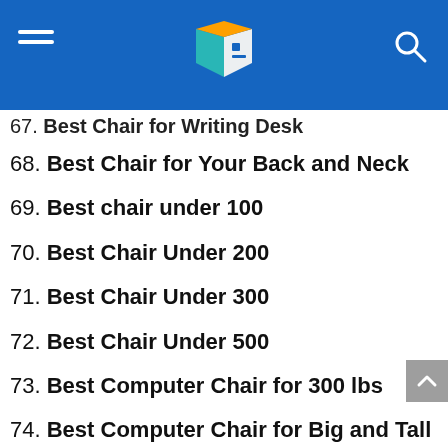Navigation header with logo and hamburger menu
67. Best Chair for Writing Desk
68. Best Chair for Your Back and Neck
69. Best chair under 100
70. Best Chair Under 200
71. Best Chair Under 300
72. Best Chair Under 500
73. Best Computer Chair for 300 lbs
74. Best Computer Chair for Big and Tall
75. Best Computer Chair for Big Guy
76. Best Computer Chair for Big Guys
77. Best Computer Chair for Fat Person
78. Best Computer Chair for Heavy Person